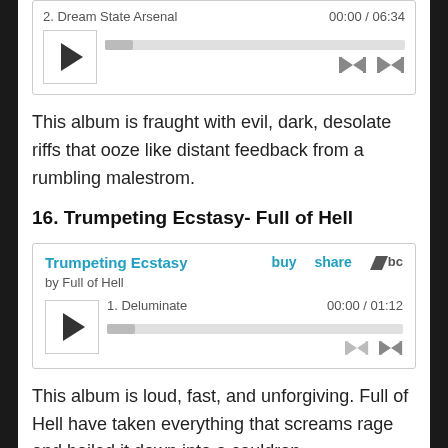[Figure (screenshot): Audio player widget showing track 2. Dream State Arsenal, time 00:00 / 06:34, with play button and progress bar]
This album is fraught with evil, dark, desolate riffs that ooze like distant feedback from a rumbling malestrom.
16. Trumpeting Ecstasy- Full of Hell
[Figure (screenshot): Bandcamp audio player for Trumpeting Ecstasy by Full of Hell, showing track 1. Deluminate, time 00:00 / 01:12, with play button and progress bar, buy/share links]
This album is loud, fast, and unforgiving. Full of Hell have taken everything that screams rage and boiled it down into a cauldron.